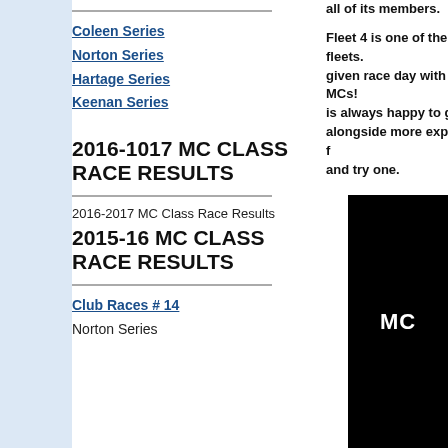Coleen Series
Norton Series
Hartage Series
Keenan Series
2016-1017 MC CLASS RACE RESULTS
2016-2017 MC Class Race Results
2015-16 MC CLASS RACE RESULTS
Club Races # 14
Norton Series
all of its members.
Fleet 4 is one of the oldest MC fleets. given race day with 35 Fleet 4 MCs! is always happy to give advice and alongside more experienced ones f and try one.
[Figure (other): Black panel with white text 'MC']